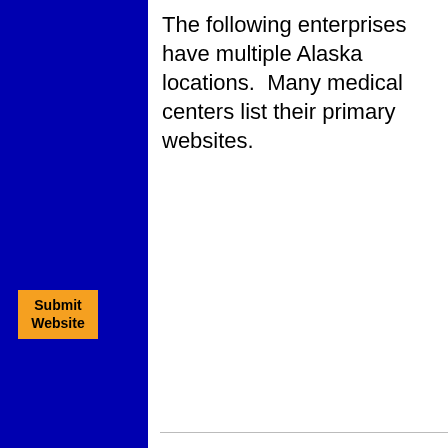The following enterprises have multiple Alaska locations.  Many medical centers list their primary websites.
[Figure (other): Orange 'Submit Website' button on dark blue sidebar]
[Figure (other): White upward-pointing triangle navigation arrow on dark blue sidebar]
[Figure (other): White downward-pointing triangle navigation arrow on dark blue sidebar]
WIC
www.fns.usda.gov